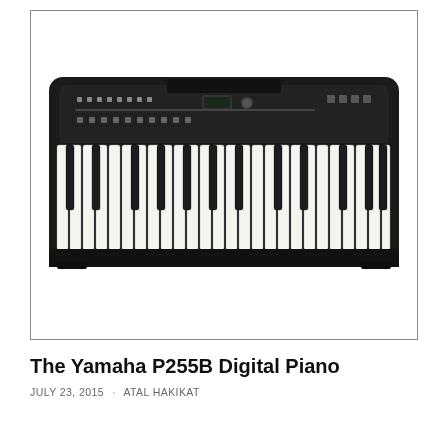[Figure (photo): Top-down angled view of a Yamaha P255B black digital piano with 88 weighted keys and control panel visible on the top surface, shown against a white background inside a rectangular border.]
The Yamaha P255B Digital Piano
JULY 23, 2015 · ATAL HAKIKAT